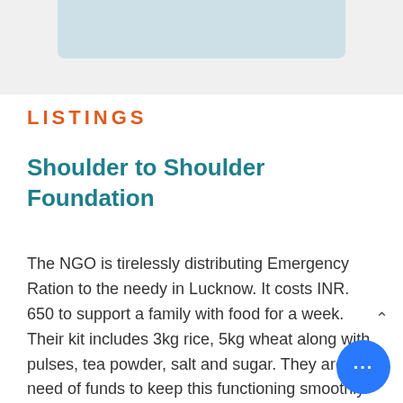[Figure (screenshot): Top partial image area with light blue/grey background, cropped UI element]
LISTINGS
Shoulder to Shoulder Foundation
The NGO is tirelessly distributing Emergency Ration to the needy in Lucknow. It costs INR. 650 to support a family with food for a week. Their kit includes 3kg rice, 5kg wheat along with pulses, tea powder, salt and sugar. They are in need of funds to keep this functioning smoothly.